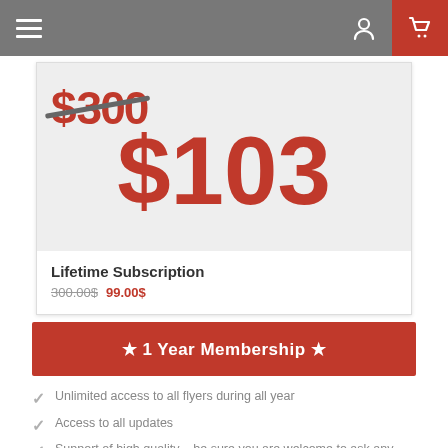Navigation bar with menu, user, and cart icons
[Figure (screenshot): Product card showing a price image with strikethrough $300 and large red $103 text on a light gray background]
Lifetime Subscription
300.00$ 99.00$
★ 1 Year Membership ★
Unlimited access to all flyers during all year
Access to all updates
Support of high quality – be sure you are welcome to ask any questions